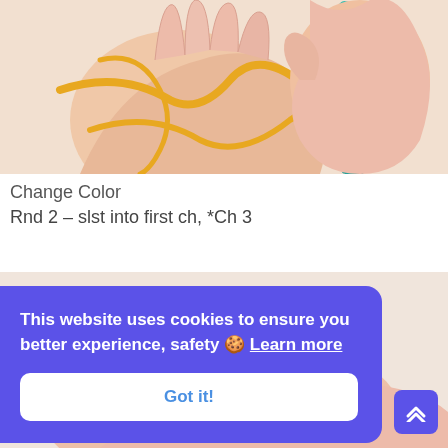[Figure (photo): Close-up of hands holding a crochet hook (teal/green) and yellow yarn, demonstrating a crochet technique against a light background.]
Change Color
Rnd 2 – slst into first ch, *Ch 3
[Figure (photo): Partial view of a second crochet instructional photo showing hands with pink and teal yarn.]
This website uses cookies to ensure you better experience, safety 🍪 Learn more
Got it!